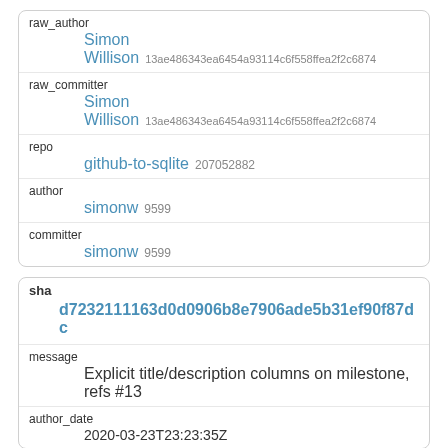| raw_author |  |  |
|  | Simon |  |
|  | Willison | 13ae486343ea6454a93114c6f558ffea2f2c6874 |
| raw_committer |  |  |
|  | Simon |  |
|  | Willison | 13ae486343ea6454a93114c6f558ffea2f2c6874 |
| repo |  |  |
|  | github-to-sqlite | 207052882 |
| author |  |  |
|  | simonw | 9599 |
| committer |  |  |
|  | simonw | 9599 |
| sha | d7232111163d0d0906b8e7906ade5b31ef90f87dc |
| message | Explicit title/description columns on milestone, refs #13 |
| author_date | 2020-03-23T23:23:35Z |